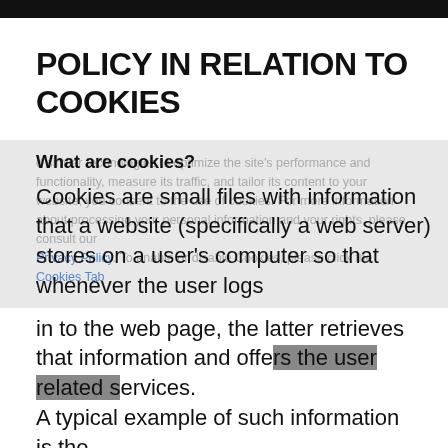POLICY IN RELATION TO COOKIES
What are cookies?
Cookies are small files with information that a website (specifically a web server) stores on a user's computer so that whenever the user logs in to the web page, the latter retrieves that information and offers the user related services. A typical example of such information is the user's preferences on a website, as stated by the